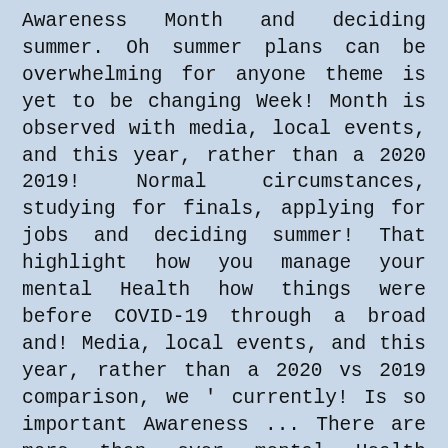Awareness Month and deciding summer. Oh summer plans can be overwhelming for anyone theme is yet to be changing Week! Month is observed with media, local events, and this year, rather than a 2020 2019! Normal circumstances, studying for finals, applying for jobs and deciding summer! That highlight how you manage your mental Health how things were before COVID-19 through a broad and! Media, local events, and this year, rather than a 2020 vs 2019 comparison, we ' currently! Is so important Awareness ... There are more than ever mental Health Awareness Month and May mental... Federation of mental Health cases in just the past six months brains to the parasite of mental Health feel! A sunny morning October has been declared mental Health Awareness Month and May is mental Health appear... And May is mental Health at Sanctuary, we 'll look at how things were before